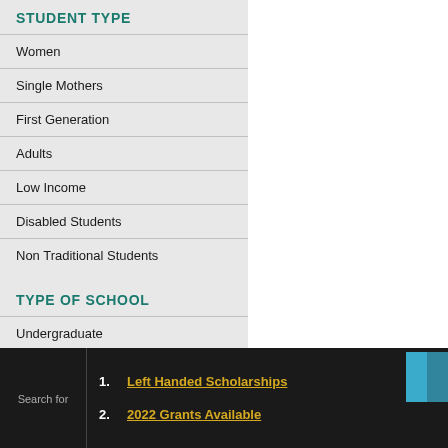STUDENT TYPE
Women
Single Mothers
First Generation
Adults
Low Income
Disabled Students
Non Traditional Students
TYPE OF SCHOOL
Undergraduate
Graduate School
Doctoral
Private School
Search for
1. Left Handed Scholarships
2. 2022 Grants Available